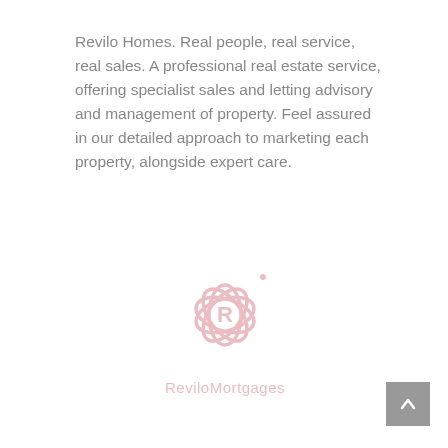Revilo Homes. Real people, real service, real sales. A professional real estate service, offering specialist sales and letting advisory and management of property. Feel assured in our detailed approach to marketing each property, alongside expert care.
[Figure (logo): ReviloMortgages logo — a flower/petal shaped outline symbol above the text 'ReviloMortgages', both in a light pink/rose color, watermark style]